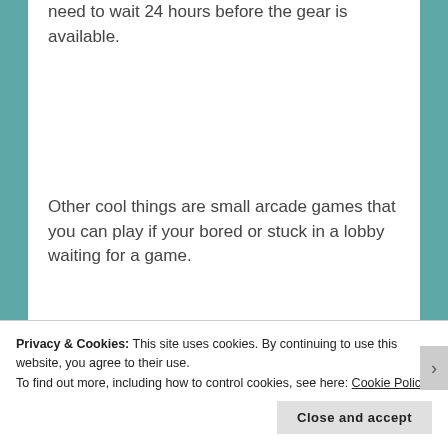need to wait 24 hours before the gear is available.
Other cool things are small arcade games that you can play if your bored or stuck in a lobby waiting for a game.
[Figure (screenshot): Screenshot of arcade game machines in a video game lobby, showing a purple arcade cabinet with a heart symbol and other machines in background]
Privacy & Cookies: This site uses cookies. By continuing to use this website, you agree to their use.
To find out more, including how to control cookies, see here: Cookie Policy
Close and accept